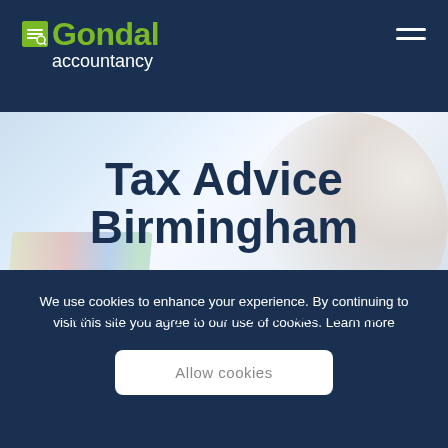Gondal accountancy
[Figure (photo): Blurred background photo of a person working on financial documents/charts on a desk]
Tax Advice Birmingham
Tax advice by Chartered Tax Adviser
We use cookies to enhance your experience. By continuing to visit this site you agree to our use of cookies. Learn more
Allow cookies